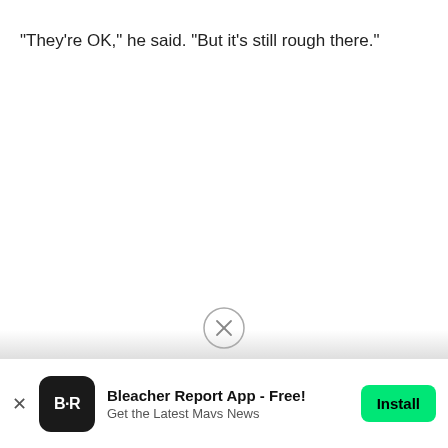"They're OK," he said. "But it's still rough there."
[Figure (other): Close/dismiss button circle with X icon overlaid on faded gray band above ad banner]
Bleacher Report App - Free!
Get the Latest Mavs News
Install